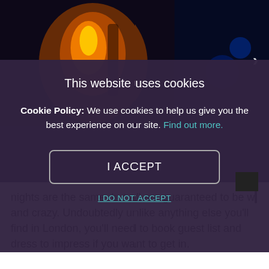[Figure (photo): Dark nightclub scene with a female fire performer holding a lit fire staff, warm orange glow against dark blue background]
This website uses cookies
Cookie Policy: We use cookies to help us give you the best experience on our site. Find out more.
I ACCEPT
I DO NOT ACCEPT
nights are the same, but all are guaranteed to be w and crazy. Undoubtedly unlike anything else you'll find in London, you'll need to book guest list and dress to impress if you want to get in.